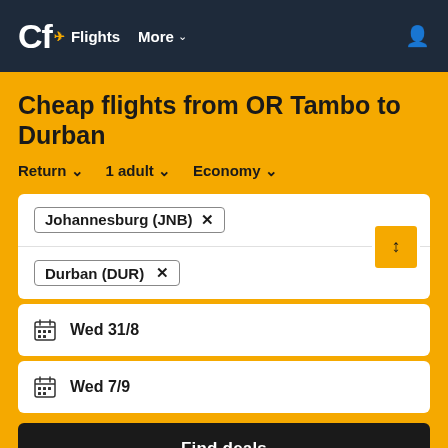Cf Flights More
Cheap flights from OR Tambo to Durban
Return  1 adult  Economy
Johannesburg (JNB) ×
Durban (DUR) ×
Wed 31/8
Wed 7/9
Find deals